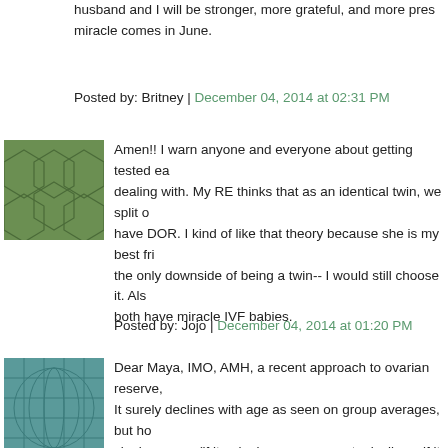husband and I will be stronger, more grateful, and more present when our miracle comes in June.
Posted by: Britney | December 04, 2014 at 02:31 PM
[Figure (illustration): Green geometric avatar icon with honeycomb/polygon pattern]
Amen!! I warn anyone and everyone about getting tested early so you know what you're dealing with. My RE thinks that as an identical twin, we split our eggs and both have DOR. I kind of like that theory because she is my best friend. It's the only downside of being a twin-- I would still choose it. Also, hoping we both have miracle IVF babies.
Posted by: Jojo | December 04, 2014 at 01:20 PM
[Figure (illustration): Teal/blue geometric grid avatar icon]
Dear Maya, IMO, AMH, a recent approach to ovarian reserve, is quite complex. It surely declines with age as seen on group averages, but how it works in a single person (if it only decreases monotonically, or if it can fluctuate) seems to remain poorly understood. There are a few people questioning the literature regarding the depth of our understanding of AMH. You might find answers in this: http://humupd.oxfordjournals.org/content/2 elsewhere in the scientific literature (put your queries -e.g. d scholar.google.com rather than the normal web-based goog scientific answers). Pregnancy is also a way to slow ovarian ag slowing down your DOR decline! A baby also changes a moth a DOR myself, I wonder of natural fertility after delivery of this